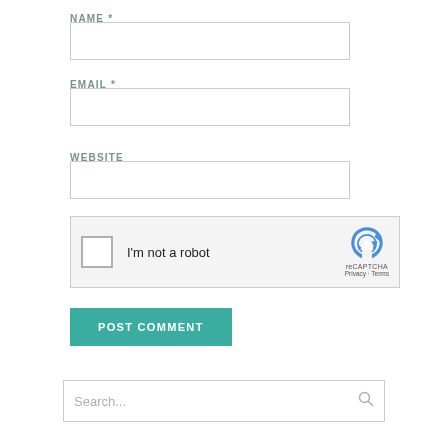NAME *
[Figure (other): Empty text input field for Name]
EMAIL *
[Figure (other): Empty text input field for Email]
WEBSITE
[Figure (other): Empty text input field for Website]
[Figure (other): reCAPTCHA widget with checkbox labeled I'm not a robot]
[Figure (other): POST COMMENT button in teal/green color]
[Figure (other): Search input field with placeholder text Search... and search icon]